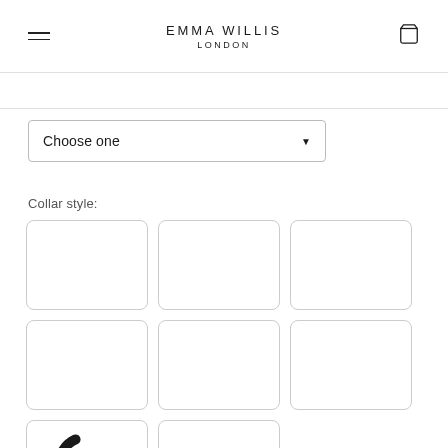EMMA WILLIS LONDON
Choose one
Collar style:
[Figure (other): Grid of 8 empty collar style option boxes, each with rounded corners and a light border. The bottom-left box contains a circular loading spinner icon.]